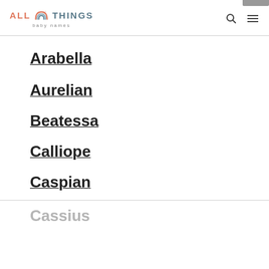ALL THINGS baby names
Arabella
Aurelian
Beatessa
Calliope
Caspian
Cassius